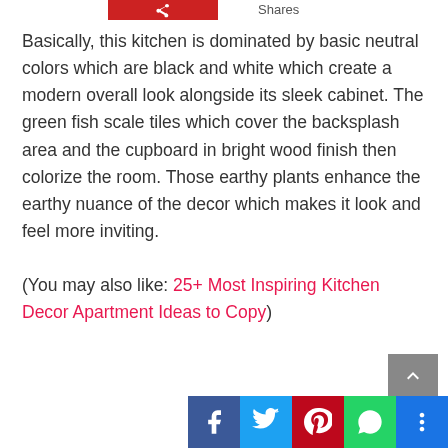Shares
Basically, this kitchen is dominated by basic neutral colors which are black and white which create a modern overall look alongside its sleek cabinet. The green fish scale tiles which cover the backsplash area and the cupboard in bright wood finish then colorize the room. Those earthy plants enhance the earthy nuance of the decor which makes it look and feel more inviting.

(You may also like: 25+ Most Inspiring Kitchen Decor Apartment Ideas to Copy)
[Figure (other): Social sharing bar with Facebook, Twitter, Pinterest, WhatsApp, and More buttons, plus a back-to-top arrow button]